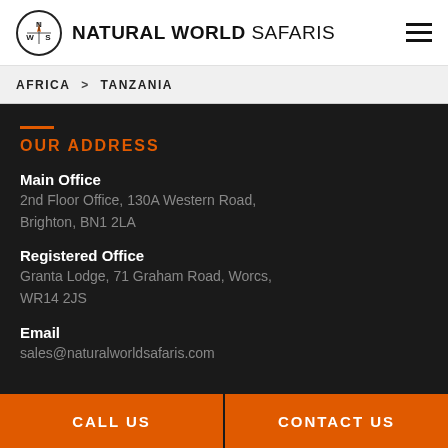NATURAL WORLD SAFARIS
AFRICA > TANZANIA
OUR ADDRESS
Main Office
2nd Floor Office, 130A Western Road, Brighton, BN1 2LA
Registered Office
Granta Lodge, 71 Graham Road, Worcs, WR14 2JS
Email
sales@naturalworldsafaris.com
CALL US | CONTACT US